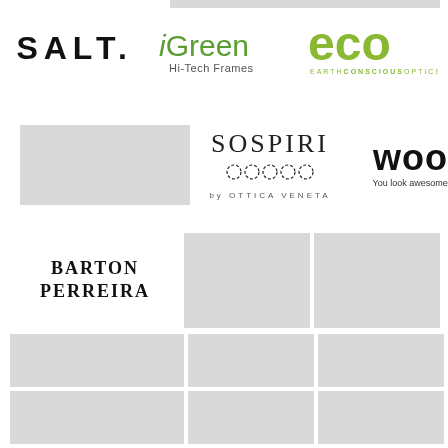[Figure (logo): SALT. logo in bold black sans-serif with wide letter spacing]
[Figure (logo): iGreen Hi-Tech Frames logo with lowercase i in green]
[Figure (logo): eco EARTH CONSCIOUS OPTICS logo in olive green]
[Figure (photo): Gray placeholder image (top left middle row)]
[Figure (logo): SOSPIRI by OTTICA VENETA logo in serif font with decorative rings]
[Figure (logo): WOOW You look awesome today.* logo in bold black sans-serif]
[Figure (logo): BARTON PERREIRA logo in serif bold caps]
[Figure (photo): Gray placeholder image]
[Figure (photo): Gray placeholder image]
[Figure (photo): Gray placeholder image]
[Figure (photo): Gray placeholder image]
[Figure (photo): Gray placeholder image]
[Figure (photo): Gray placeholder image]
[Figure (photo): Gray placeholder image]
[Figure (photo): Gray placeholder image]